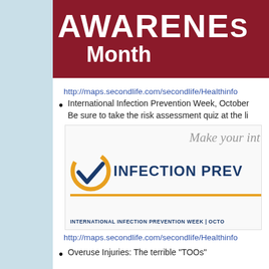[Figure (illustration): Red banner with white bold text 'AWARENE...' and 'Month' — partial view of Awareness Month banner]
http://maps.secondlife.com/secondlife/Healthinfo...
International Infection Prevention Week, October... Be sure to take the risk assessment quiz at the li...
[Figure (illustration): International Infection Prevention Week banner with checkmark logo, text 'Make your int...', 'INFECTION PREV...' in dark blue, gold underline, footer text 'INTERNATIONAL INFECTION PREVENTION WEEK | OCTO...']
http://maps.secondlife.com/secondlife/Healthinfo...
Overuse Injuries: The terrible "TOOs"
[Figure (illustration): Partial image at bottom of page]